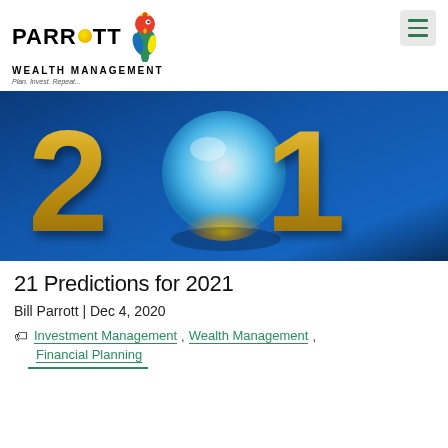[Figure (logo): Parrott Wealth Management logo with colorful parrot illustration, tagline 'Plan. Invest. Repeat.']
[Figure (illustration): 2021 graphic with large gold numerals '2021' on a blue background, with a glowing crystal sphere replacing the zero]
21 Predictions for 2021
Bill Parrott | Dec 4, 2020
Investment Management , Wealth Management , Financial Planning